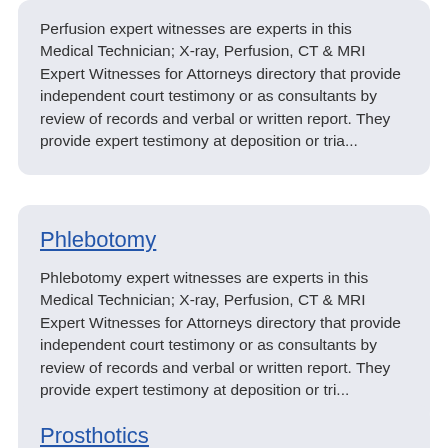Perfusion expert witnesses are experts in this Medical Technician; X-ray, Perfusion, CT & MRI Expert Witnesses for Attorneys directory that provide independent court testimony or as consultants by review of records and verbal or written report. They provide expert testimony at deposition or tria...
Phlebotomy
Phlebotomy expert witnesses are experts in this Medical Technician; X-ray, Perfusion, CT & MRI Expert Witnesses for Attorneys directory that provide independent court testimony or as consultants by review of records and verbal or written report. They provide expert testimony at deposition or tri...
Prosthotics